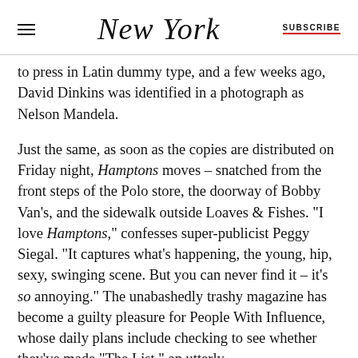NEW YORK | SUBSCRIBE
to press in Latin dummy type, and a few weeks ago, David Dinkins was identified in a photograph as Nelson Mandela.

Just the same, as soon as the copies are distributed on Friday night, Hamptons moves – snatched from the front steps of the Polo store, the doorway of Bobby Van's, and the sidewalk outside Loaves & Fishes. “I love Hamptons,” confesses super-publicist Peggy Siegal. “It captures what’s happening, the young, hip, sexy, swinging scene. But you can never find it – it’s so annoying.” The unabashedly trashy magazine has become a guilty pleasure for People With Influence, whose daily plans include checking to see whether they’ve made “The List,” an utterly